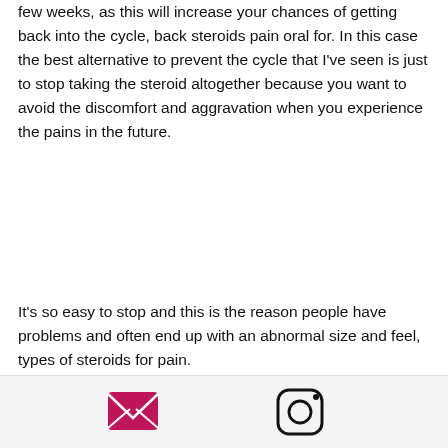few weeks, as this will increase your chances of getting back into the cycle, back steroids pain oral for. In this case the best alternative to prevent the cycle that I've seen is just to stop taking the steroid altogether because you want to avoid the discomfort and aggravation when you experience the pains in the future.
It's so easy to stop and this is the reason people have problems and often end up with an abnormal size and feel, types of steroids for pain.
In fact, it can be said that it primes the body to make anabolic steroids more effective in the long run, although not everyone who takes it will need steroids to Bulk Up.
[Figure (other): Footer bar with email icon (pink/magenta envelope) and Instagram icon (camera outline)]